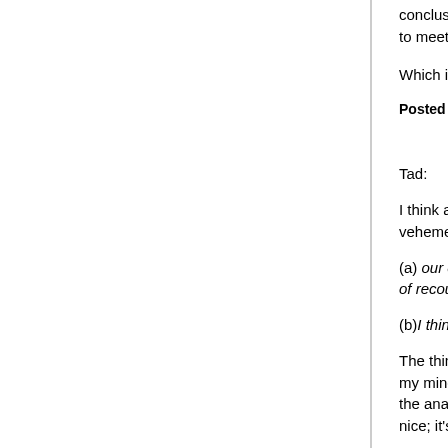conclusion means that you assumed an enormou... to meet it.
Which is just to say: it pains me too. Enormously.
Posted by: hilzoy | June 28, 2005 at 06:10 PM
Tad:
I think a crucial difference between your perspect... vehemently disagree with the following two points:
(a) our country's success depends on making furt... of recouping the initial losses; and
(b)I think that pride and face are not trivial elemen...
The thing that has bothered me most about the p... my mind) floppy way we've gone about defining th... the analysis. "WMD" are not scary; nukes are. De... nice; it's neither necessary nor a guarantee of go...
If we walk out of Iraq tomorrow, throwing the keys... ollie, oxen free!" we will still remain, by a substant... scariest military on earth. No one is going to be c... they attack our country rather than its interests. "P...